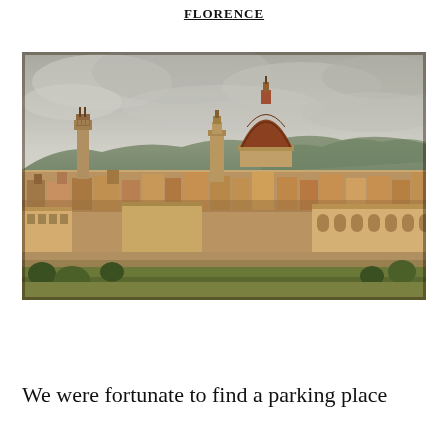FLORENCE
[Figure (photo): Panoramic view of Florence, Italy, showing the city skyline with Brunelleschi's Dome (Cattedrale di Santa Maria del Fiore), the Palazzo Vecchio tower, and dense historic rooftops, with hills and overcast sky in the background, and the Arno river in the foreground.]
We were fortunate to find a parking place